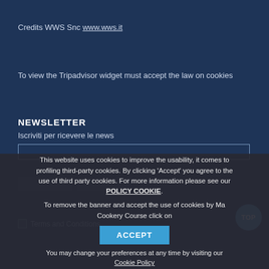Credits WWS Snc www.wws.it
To view the Tripadvisor widget must accept the law on cookies
NEWSLETTER
Iscriviti per ricevere le news
This website uses cookies to improve the usability, it comes to profiling third-party cookies. By clicking 'Accept' you agree to the use of third party cookies. For more information please see our POLICY COOKIE. To remove the banner and accept the use of cookies by Ma Cookery Course click on
ACCEPT
You may change your preferences at any time by visiting our Cookie Policy